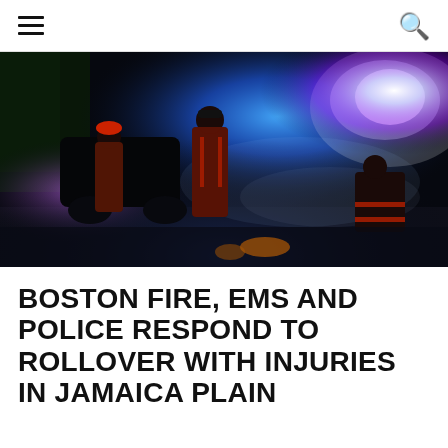menu search
[Figure (photo): Three firefighters/EMS workers in dark uniforms with red reflective stripes standing at night at a vehicle accident scene. Blue and red emergency lights illuminate the scene from background vehicles. A flipped or damaged vehicle is visible. Scene is dark with mist/smoke.]
BOSTON FIRE, EMS AND POLICE RESPOND TO ROLLOVER WITH INJURIES IN JAMAICA PLAIN